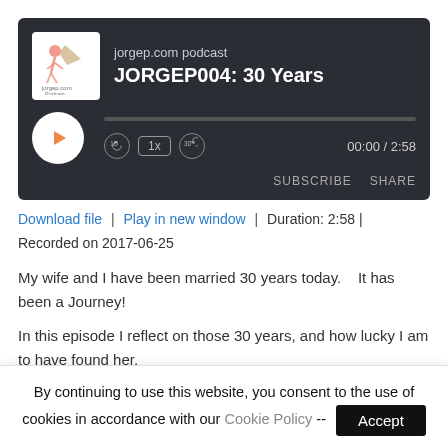[Figure (screenshot): Podcast audio player widget with dark background showing jorgep.com podcast logo, episode title JORGEP004: 30 Years, play button, progress bar, playback controls (rewind 10, 1x speed, skip 30), time display 00:00 / 2:58, SUBSCRIBE and SHARE buttons]
Download file | Play in new window | Duration: 2:58 | Recorded on 2017-06-25
My wife and I have been married 30 years today.    It has been a Journey!
In this episode I reflect on those 30 years, and how lucky I am to have found her.
File Info:
By continuing to use this website, you consent to the use of cookies in accordance with our Cookie Policy --